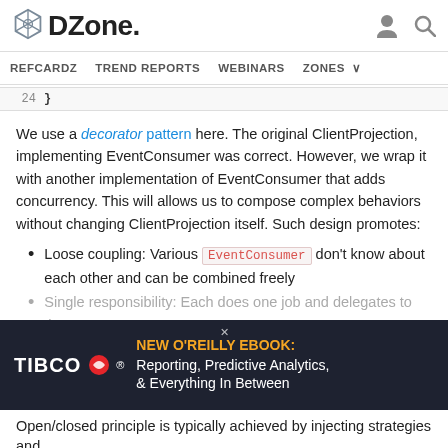DZone | REFCARDZ | TREND REPORTS | WEBINARS | ZONES
24  }
We use a decorator pattern here. The original ClientProjection, implementing EventConsumer was correct. However, we wrap it with another implementation of EventConsumer that adds concurrency. This will allows us to compose complex behaviors without changing ClientProjection itself. Such design promotes:
Loose coupling: Various EventConsumer don't know about each other and can be combined freely
Single responsibility: Each does one job and delegates to the next
[Figure (other): TIBCO advertisement banner: NEW O'REILLY EBOOK: Reporting, Predictive Analytics, & Everything In Between]
Open/closed principle is typically achieved by injecting strategies and